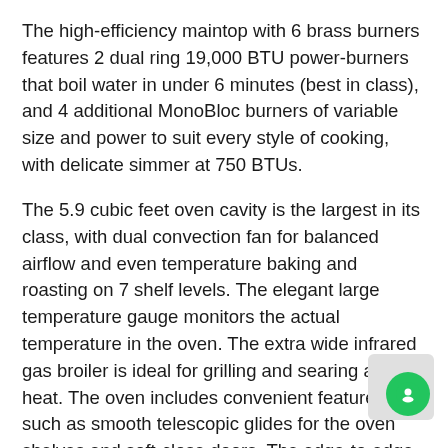The high-efficiency maintop with 6 brass burners features 2 dual ring 19,000 BTU power-burners that boil water in under 6 minutes (best in class), and 4 additional MonoBloc burners of variable size and power to suit every style of cooking, with delicate simmer at 750 BTUs.
The 5.9 cubic feet oven cavity is the largest in its class, with dual convection fan for balanced airflow and even temperature baking and roasting on 7 shelf levels. The elegant large temperature gauge monitors the actual temperature in the oven. The extra wide infrared gas broiler is ideal for grilling and searing at high heat. The oven includes convenient features such as smooth telescopic glides for the oven shelves and soft-close doors. The edge-to-edge interior oven glass door maximizes interior volume and can be wiped clean without effort.
All Bertazzoni appliances are covered by a 2-